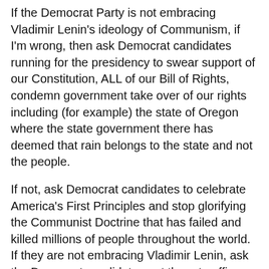If the Democrat Party is not embracing Vladimir Lenin's ideology of Communism, if I'm wrong, then ask Democrat candidates running for the presidency to swear support of our Constitution, ALL of our Bill of Rights, condemn government take over of our rights including (for example) the state of Oregon where the state government there has deemed that rain belongs to the state and not the people.
If not, ask Democrat candidates to celebrate America's First Principles and stop glorifying the Communist Doctrine that has failed and killed millions of people throughout the world. If they are not embracing Vladimir Lenin, ask the Democrat candidates out there to affirm that an armed citizenry is needed in Cuba, Venezuela, North Korea, or China to stop the oppressive Communist governments there from enslaving their peoples?
And if a Democrat candidate for president refuses to answer such questions, ask your local Democrat politician if he or she would stop attacking our Capitalist system which is responsible for rising more people out of poverty than any other economic system. Since the Democrat Party is